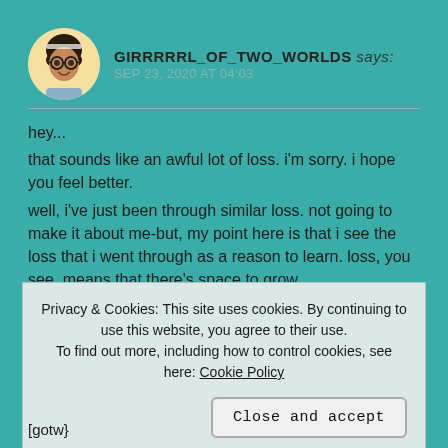GIRRRRRL_OF_TWO_WORLDS says: SEP 23, 2020 AT 04:03
hey...
that sounds like an awful lot of loss. i'm sorry. i hope you feel better.
well, i've just been through similar loss. not going to make it about me-but, my point here is that i see the loss that i went through as a reason to learn. loss, you see, means that there's space to grow.
frankly, i believe that it was his job to hold it together.
Privacy & Cookies: This site uses cookies. By continuing to use this website, you agree to their use.
To find out more, including how to control cookies, see here: Cookie Policy
Close and accept
[gotw}